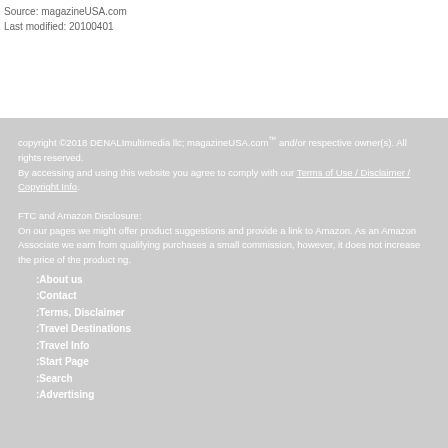Source: magazineUSA.com
Last modified: 20100401
copyright ©2018 DENALImultimedia llc; magazineUSA.com™ and/or respective owner(s). All rights reserved.
By accessing and using this website you agree to comply with our Terms of Use / Disclaimer / Copyright Info.
FTC and Amazon Disclosure:
On our pages we might offer product suggestions and provide a link to Amazon. As an Amazon Associate we earn from qualifying purchases a small commission, however, it does not increase the price of the product ng.
:About us
:Contact
:Terms, Disclaimer
:Travel Destinations
:Travel Info
:Start Page
:Search
:Advertising